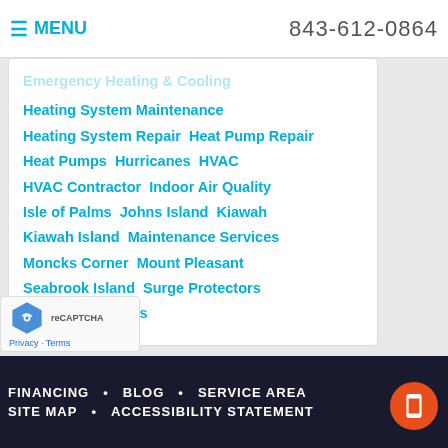MENU  843-612-0864
Heating System Maintenance
Heating System Repair  Heat Pump Repair
Heat Pumps  Hurricanes  HVAC
HVAC Contractor  Indoor Air Quality
Isle of Palms  Johns Island  Kiawah
Kiawah Island  Maintenance Services
Moncks Corner  Mount Pleasant
Seabrook Island  Surge Protectors
Thermostats  Tips
FINANCING  BLOG  SERVICE AREA  SITE MAP  ACCESSIBILITY STATEMENT